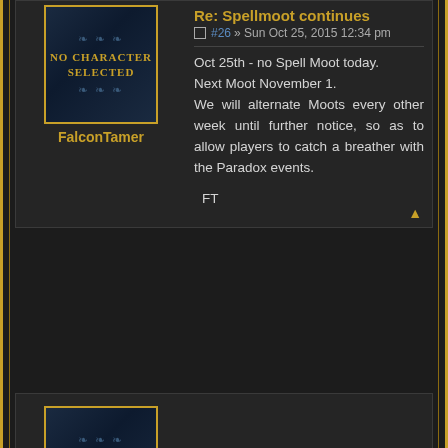[Figure (illustration): Avatar placeholder showing 'No Character Selected' in a dark blue ornate frame with golden border, for user FalconTamer]
FalconTamer
Re: Spellmoot continues
#26 » Sun Oct 25, 2015 12:34 pm
Oct 25th - no Spell Moot today.
Next Moot November 1.
We will alternate Moots every other week until further notice, so as to allow players to catch a breather with the Paradox events.

FT
[Figure (illustration): Avatar placeholder showing 'No Character Selected' in a dark blue ornate frame with golden border, for user Cervantes]
Cervantes